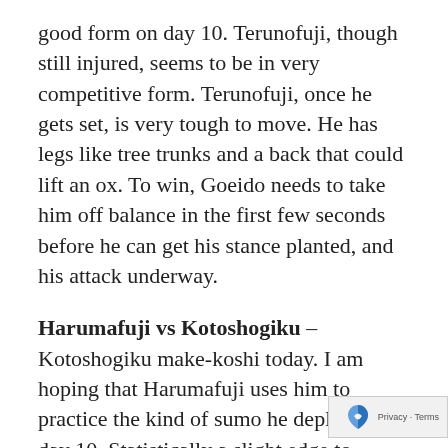good form on day 10. Terunofuji, though still injured, seems to be in very competitive form. Terunofuji, once he gets set, is very tough to move. He has legs like tree trunks and a back that could lift an ox. To win, Goeido needs to take him off balance in the first few seconds before he can get his stance planted, and his attack underway.
Harumafuji vs Kotoshogiku – Kotoshogiku make-koshi today. I am hoping that Harumafuji uses him to practice the kind of sumo he deployed on day 10. Statistically a slight edge to Kotoshogiku, with history showing a 33-27 lifetime between the two. But let's get serio... Kotoshogiku is going make-kochi, and will